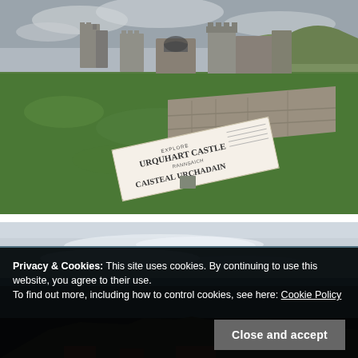[Figure (photo): Photo of Urquhart Castle ruins with green grassy grounds, stone walls, a wooden fence along a path, and a visitor information sign reading 'Explore Urquhart Castle / Rannsaich Caisteal Urchadain' in the foreground. Overcast sky and hills in the background.]
[Figure (photo): Aerial or elevated photo of Loch Ness with a dark body of water, light reflections on the surface, and beginning of aerial view of Urquhart Castle ruins at the bottom edge.]
Privacy & Cookies: This site uses cookies. By continuing to use this website, you agree to their use.
To find out more, including how to control cookies, see here: Cookie Policy
Close and accept